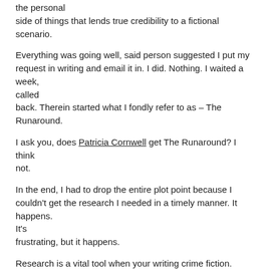the personal side of things that lends true credibility to a fictional scenario.
Everything was going well, said person suggested I put my request in writing and email it in. I did. Nothing. I waited a week, called back. Therein started what I fondly refer to as – The Runaround.
I ask you, does Patricia Cornwell get The Runaround? I think not.
In the end, I had to drop the entire plot point because I couldn't get the research I needed in a timely manner. It happens. It's frustrating, but it happens.
Research is a vital tool when your writing crime fiction. The advent of crime shows, fictionalized and real, have educated our readers.